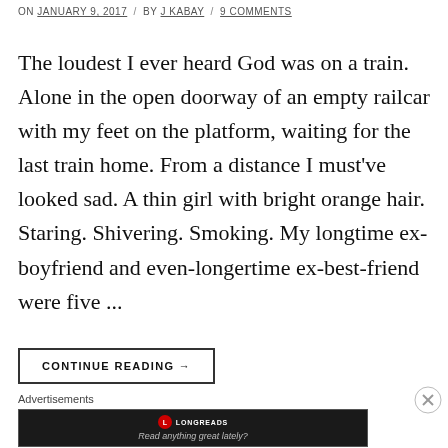ON JANUARY 9, 2017 / BY J KABAY / 9 COMMENTS
The loudest I ever heard God was on a train. Alone in the open doorway of an empty railcar with my feet on the platform, waiting for the last train home. From a distance I must've looked sad. A thin girl with bright orange hair. Staring. Shivering. Smoking. My longtime ex-boyfriend and even-longertime ex-best-friend were five ...
CONTINUE READING →
Advertisements
[Figure (other): Longreads advertisement banner with logo and tagline 'Read anything great lately?']